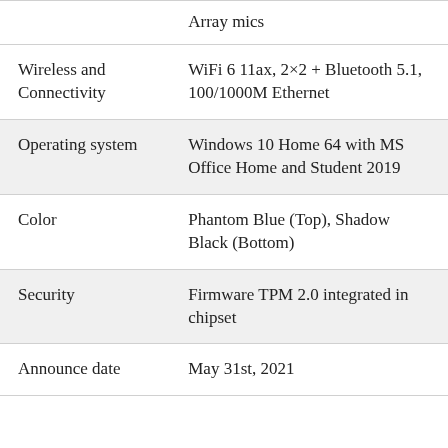| Feature | Details |
| --- | --- |
|  | Array mics |
| Wireless and Connectivity | WiFi 6 11ax, 2×2 + Bluetooth 5.1, 100/1000M Ethernet |
| Operating system | Windows 10 Home 64 with MS Office Home and Student 2019 |
| Color | Phantom Blue (Top), Shadow Black (Bottom) |
| Security | Firmware TPM 2.0 integrated in chipset |
| Announce date | May 31st, 2021 |